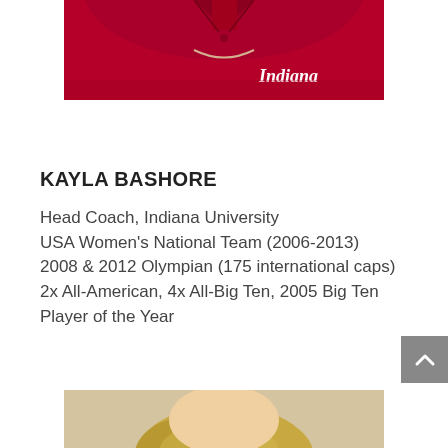[Figure (photo): Partial photo of Kayla Bashore from shoulders up, wearing a crimson Indiana University polo shirt with script 'Indiana' logo and a necklace, white background at top.]
KAYLA BASHORE
Head Coach, Indiana University
USA Women's National Team (2006-2013)
2008 & 2012 Olympian (175 international caps)
2x All-American, 4x All-Big Ten, 2005 Big Ten Player of the Year
[Figure (photo): Partial photo of another person (bottom of page), blonde hair visible, cropped at top of image.]